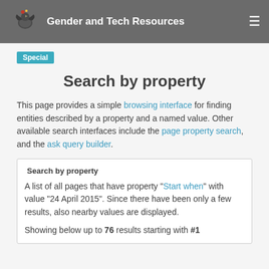Gender and Tech Resources
Special
Search by property
This page provides a simple browsing interface for finding entities described by a property and a named value. Other available search interfaces include the page property search, and the ask query builder.
Search by property
A list of all pages that have property "Start when" with value "24 April 2015". Since there have been only a few results, also nearby values are displayed.
Showing below up to 76 results starting with #1